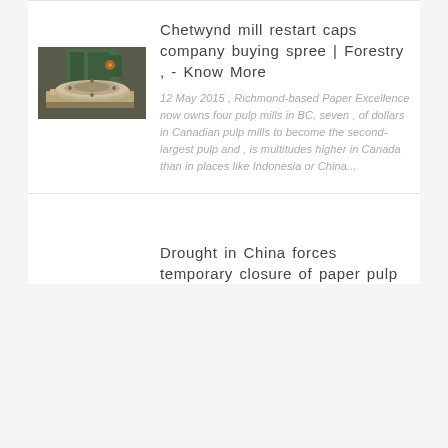Chetwynd mill restart caps company buying spree | Forestry , - Know More
[Figure (photo): Industrial equipment on a factory floor — appears to be a large metal millstone or pulp mill component on a wooden pallet, with green machinery in the background.]
12 May 2015 , Richmond-based Paper Excellence now owns four pulp mills in BC, seven , of dollars in Canadian pulp mills to become the second-largest pulp and , is multitudes higher in Canada than in places like Indonesia or China...
Drought in China forces temporary closure of paper pulp